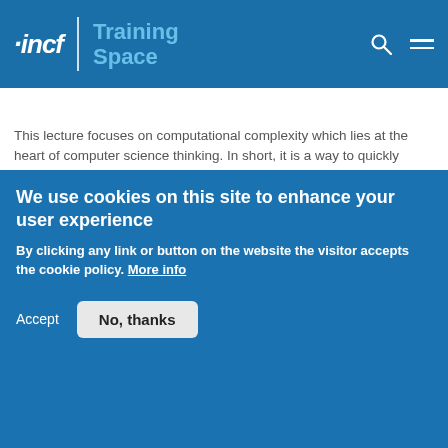incf | Training Space
[Figure (screenshot): Dark video thumbnail showing text: 'discrete systems', 'ICT FOR NON-SPECIALISTS', and a URL]
This lecture focuses on computational complexity which lies at the heart of computer science thinking. In short, it is a way to quickly gauge an approximation to the computational resource required to perform a task. Methods to analyse a computer program and to perform the approximation are presented. Speaker: David Lester.
Difficulty level:   Beginner
We use cookies on this site to enhance your user experience
By clicking any link or button on the website the visitor accepts the cookie policy. More info
Accept   No, thanks